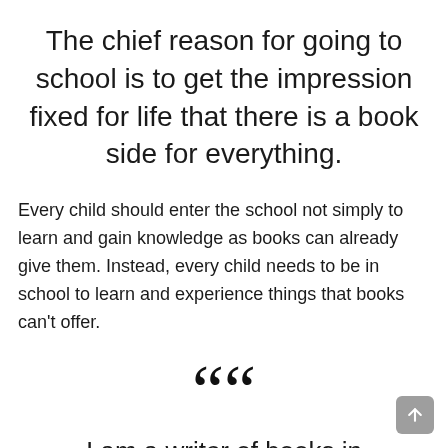The chief reason for going to school is to get the impression fixed for life that there is a book side for everything.
Every child should enter the school not simply to learn and gain knowledge as books can already give them. Instead, every child needs to be in school to learn and experience things that books can't offer.
““
I am a writer of books in retrospect. I talk in order to